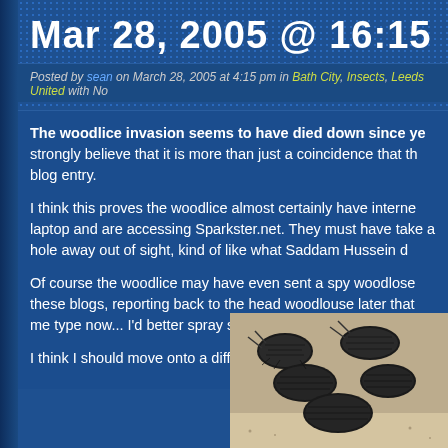Mar 28, 2005 @ 16:15
Posted by sean on March 28, 2005 at 4:15 pm in Bath City, Insects, Leeds United with No
The woodlice invasion seems to have died down since ye strongly believe that it is more than just a coincidence that th blog entry.
I think this proves the woodlice almost certainly have interne laptop and are accessing Sparkster.net. They must have take a hole away out of sight, kind of like what Saddam Hussein d
Of course the woodlice may have even sent a spy woodlose these blogs, reporting back to the head woodlouse later that me type now... I'd better spray some RAID Insect Repellent a
I think I should move onto a different topic as it is unclear wh
[Figure (photo): Close-up photo of woodlice (pill bugs/roly-poly insects) clustered together on a sandy/gritty surface, dark in color]